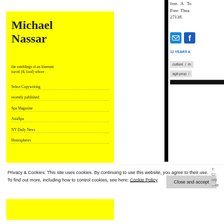Michael Nassar
the ramblings of an itinerant travel (& food) whore
Select Copywriting
recently published:
Spa Magazine
AsiaSpa
NY Daily News
Hemispheres
free. A To Free Thea 27138.
[Figure (logo): Email and Facebook social media icon buttons (blue squares with mail and f icons)]
12 YEARS A
culture / m
agit-prop /
Privacy & Cookies: This site uses cookies. By continuing to use this website, you agree to their use.
To find out more, including how to control cookies, see here: Cookie Policy
Close and accept